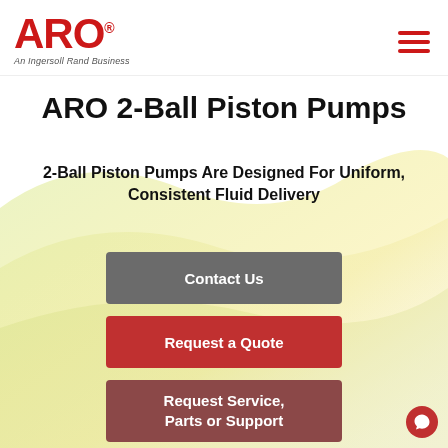[Figure (logo): ARO logo - red bold text 'ARO' with registered trademark symbol, subtitle 'An Ingersoll Rand Business']
[Figure (illustration): Hamburger menu icon - three horizontal red bars]
ARO 2-Ball Piston Pumps
2-Ball Piston Pumps Are Designed For Uniform, Consistent Fluid Delivery
Contact Us
Request a Quote
Request Service, Parts or Support